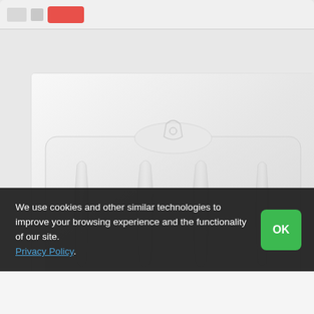[Figure (screenshot): Top navigation bar area with icon boxes and a red button]
[Figure (photo): White bathroom scale product photo showing a rectangular white plastic scale with ridged surface and a small shield/smiley logo embossed near the top center]
We use cookies and other similar technologies to improve your browsing experience and the functionality of our site. Privacy Policy.